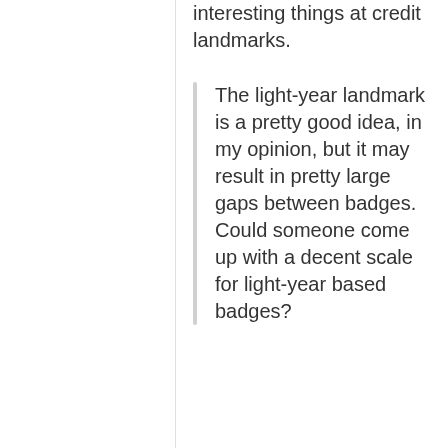interesting things at credit landmarks.
The light-year landmark is a pretty good idea, in my opinion, but it may result in pretty large gaps between badges. Could someone come up with a decent scale for light-year based badges?